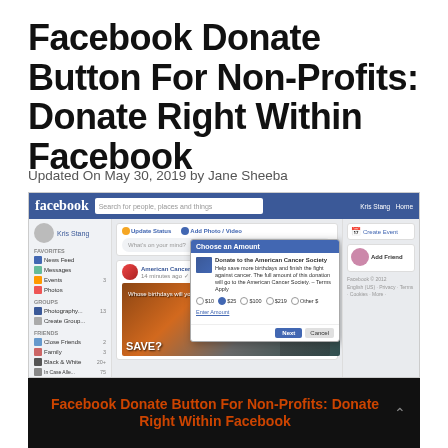Facebook Donate Button For Non-Profits: Donate Right Within Facebook
Updated On May 30, 2019 by Jane Sheeba
[Figure (screenshot): Screenshot of Facebook interface showing the American Cancer Society page with a 'Choose an Amount' donation modal popup. The modal shows options to donate $10, $25, $100, $219, or Other amount with Next and Cancel buttons. The main feed shows an American Cancer Society post with image text 'Whose birthdays will you SAVE?'. The page shows the facebook logo, navigation, sidebar, and watermark www.techbuzzonline.com]
Facebook Donate Button For Non-Profits: Donate Right Within Facebook